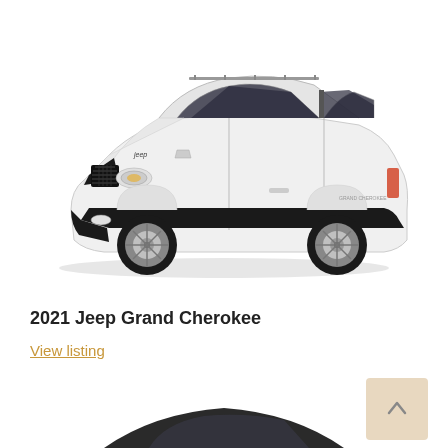[Figure (photo): 2021 Jeep Grand Cherokee white SUV viewed from front-left angle, showing full vehicle on white background]
2021 Jeep Grand Cherokee
View listing
[Figure (photo): Partial top view of a dark-colored sedan/car, visible from top showing roof and front windshield area]